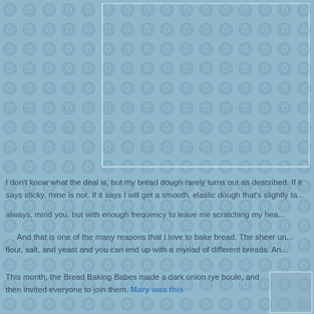[Figure (photo): Decorative blue swirl/spiral patterned background covering the full page. Two rectangular image frames with thin light-colored borders are visible in the upper portion (top-center-right area) and a smaller frame in the bottom-right corner. The frames appear to contain or indicate photo placements.]
I don't know what the deal is, but my bread dough rarely turns out as described. If it says sticky, mine is not. If it says I will get a smooth, elastic dough that's slightly tacky... Not always, mind you, but with enough frequency to leave me scratching my head.
And that is one of the many reasons that I love to bake bread. The sheer unpredictability. Use flour, salt, and yeast and you can end up with a myriad of different breads. An...
This month, the Bread Baking Babes made a dark onion rye boule, and then invited everyone to join them. Mary was this month's host, and the recipe she chose was created by...